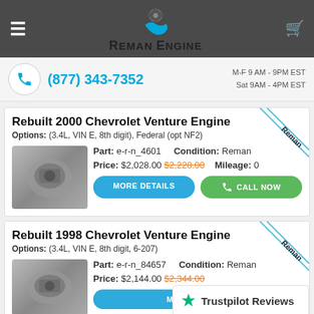Reman Engine
(877) 343-7352 | M-F 9 AM - 9PM EST | Sat 9AM - 4PM EST
Rebuilt 2000 Chevrolet Venture Engine
Options: (3.4L, VIN E, 8th digit), Federal (opt NF2)
Part: e-r-n_4601 | Condition: Reman | Price: $2,028.00 $2,228.00 | Mileage: 0
Rebuilt 1998 Chevrolet Venture Engine
Options: (3.4L, VIN E, 8th digit, 6-207)
Part: e-r-n_84657 | Condition: Reman | Price: $2,144.00 $2,344.00